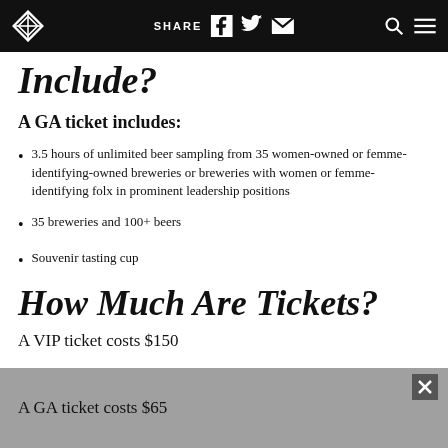SHARE
Include?
A GA ticket includes:
3.5 hours of unlimited beer sampling from 35 women-owned or femme-identifying-owned breweries or breweries with women or femme-identifying folx in prominent leadership positions
35 breweries and 100+ beers
Souvenir tasting cup
How Much Are Tickets?
A VIP ticket costs $150
A GA ticket costs $65